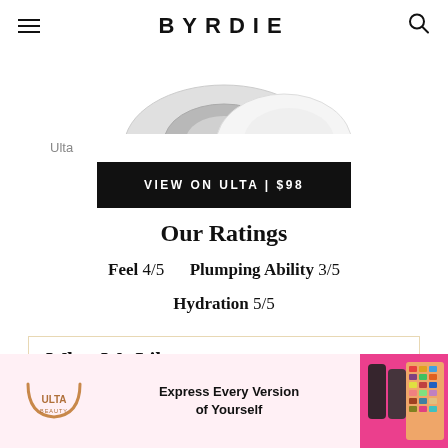BYRDIE
[Figure (photo): Partial product image (beauty device, metallic/white) visible at top, cropped]
Ulta
VIEW ON ULTA | $98
Our Ratings
Feel 4/5   Plumping Ability 3/5
Hydration 5/5
What We Like
Ad
[Figure (illustration): Ulta Beauty advertisement banner: Ulta Beauty logo, text 'Express Every Version of Yourself', cosmetics products on right]